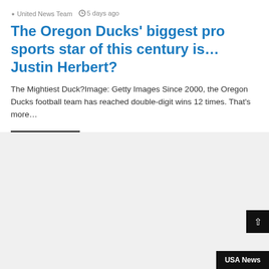United News Team  ⏱ 5 days ago
The Oregon Ducks' biggest pro sports star of this century is… Justin Herbert?
The Mightiest Duck?Image: Getty Images Since 2000, the Oregon Ducks football team has reached double-digit wins 12 times. That's more…
Read More »
USA News